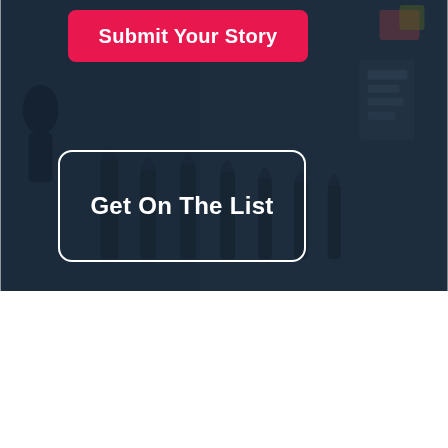[Figure (screenshot): Dark blurred street scene background with bollards and signs, with a wavy white transition at the bottom]
Submit Your Story
Get On The List